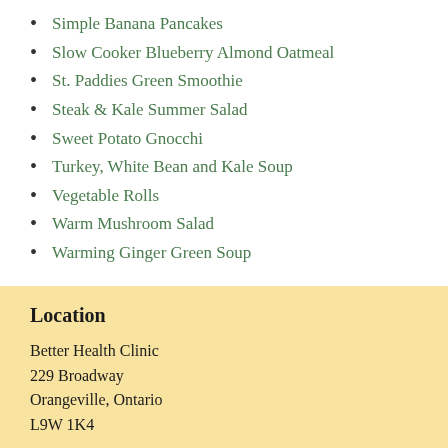Simple Banana Pancakes
Slow Cooker Blueberry Almond Oatmeal
St. Paddies Green Smoothie
Steak & Kale Summer Salad
Sweet Potato Gnocchi
Turkey, White Bean and Kale Soup
Vegetable Rolls
Warm Mushroom Salad
Warming Ginger Green Soup
Location
Better Health Clinic
229 Broadway
Orangeville, Ontario
L9W 1K4
Entrance at the rear of the building, off the parking lot